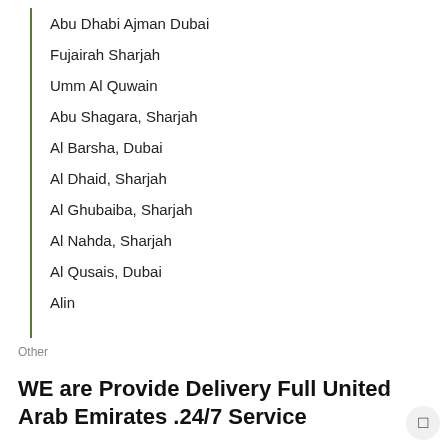Abu Dhabi Ajman Dubai
Fujairah Sharjah
Umm Al Quwain
Abu Shagara, Sharjah
Al Barsha, Dubai
Al Dhaid, Sharjah
Al Ghubaiba, Sharjah
Al Nahda, Sharjah
Al Qusais, Dubai
Alin
Other
WE are Provide Delivery Full United Arab Emirates .24/7 Service